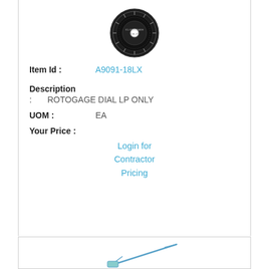[Figure (photo): Circular black rotogage dial product image viewed from above]
Item Id : A9091-18LX
Description
: ROTOGAGE DIAL LP ONLY
UOM : EA
Your Price :
Login for Contractor Pricing
[Figure (photo): Partial view of a second product at bottom of page]